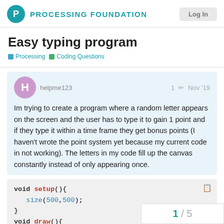PROCESSING FOUNDATION
Easy typing program
Processing   Coding Questions
helpme123   1   Nov '19
Im trying to create a program where a random letter appears on the screen and the user has to type it to gain 1 point and if they type it within a time frame they get bonus points (I haven't wrote the point system yet because my current code in not working). The letters in my code fill up the canvas constantly instead of only appearing once.
void setup(){
  size(500,500);
}
void draw(){
  background(255);
1 / 5